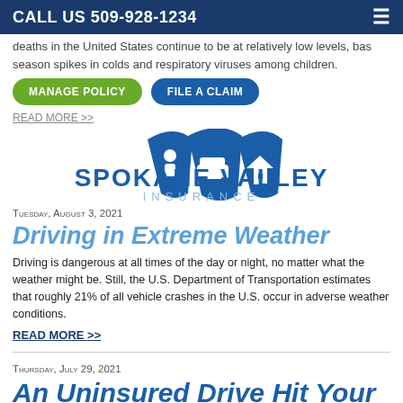CALL US 509-928-1234
deaths in the United States continue to be at relatively low levels, but as season spikes in colds and respiratory viruses among children.
READ MORE >>
[Figure (logo): Spokane Valley Insurance logo with umbrella icons for person, car, and home]
Tuesday, August 3, 2021
Driving in Extreme Weather
Driving is dangerous at all times of the day or night, no matter what the weather might be. Still, the U.S. Department of Transportation estimates that roughly 21% of all vehicle crashes in the U.S. occur in adverse weather conditions.
READ MORE >>
Thursday, July 29, 2021
An Uninsured Drive Hit Your